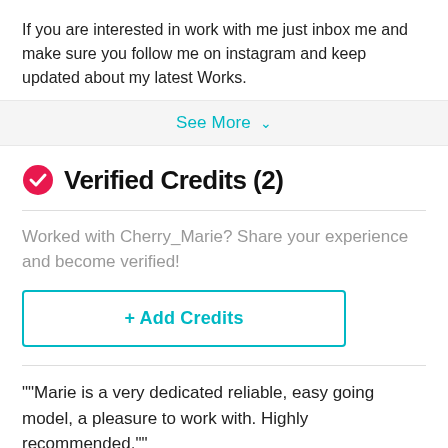If you are interested in work with me just inbox me and make sure you follow me on instagram and keep updated about my latest Works.
See More ∨
Verified Credits (2)
Worked with Cherry_Marie? Share your experience and become verified!
+ Add Credits
""Marie is a very dedicated reliable, easy going model, a pleasure to work with. Highly recommended.""
Tearlessdr0p · Photographer
Worked together 2-10 times; Most recent: August